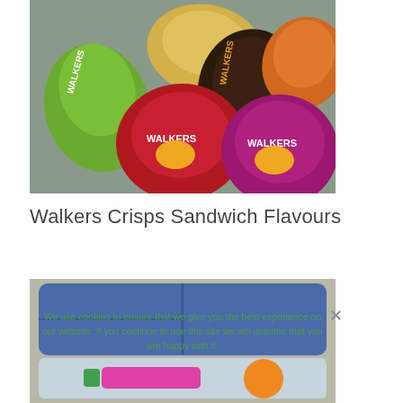[Figure (photo): Photo of multiple Walkers crisps bags in various flavours and colours (green, dark brown, red, pink/purple) arranged on a grey surface]
Walkers Crisps Sandwich Flavours
[Figure (photo): Photo of a blue lunchbox/sandwich box with a clear lid compartment containing snacks including what appears to be a pink item and an orange]
We use cookies to ensure that we give you the best experience on our website. If you continue to use this site we will assume that you are happy with it.